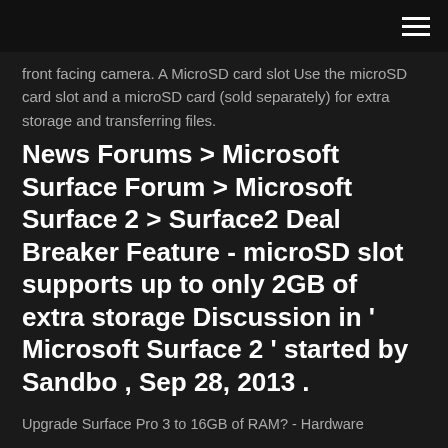front facing camera. A MicroSD card slot Use the microSD card slot and a microSD card (sold separately) for extra storage and transferring files.
News Forums > Microsoft Surface Forum > Microsoft Surface 2 > Surface2 Deal Breaker Feature - microSD slot supports up to only 2GB of extra storage Discussion in ' Microsoft Surface 2 ' started by Sandbo , Sep 28, 2013 .
Upgrade Surface Pro 3 to 16GB of RAM? - Hardware